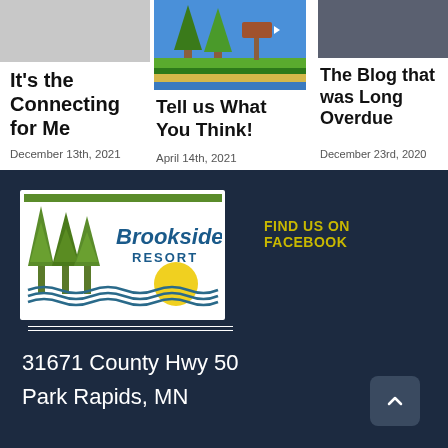[Figure (screenshot): Gray placeholder image in top-left column]
It’s the Connecting for Me
December 13th, 2021
[Figure (illustration): Colorful cartoon illustration of a park trail with trees and a brown sign]
Tell us What You Think!
April 14th, 2021
[Figure (photo): Dark photo showing outdoor structure at night]
The Blog that was Long Overdue
December 23rd, 2020
[Figure (logo): Brookside Resort logo with pine trees and sun over water]
FIND US ON FACEBOOK
31671 County Hwy 50
Park Rapids, MN